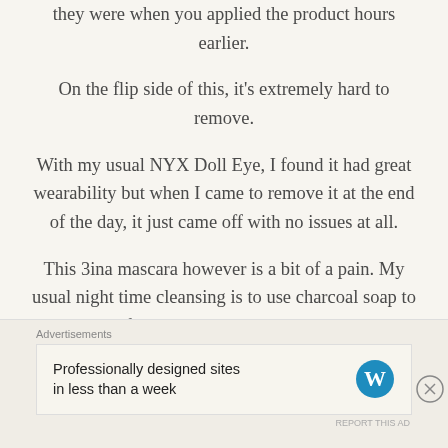they were when you applied the product hours earlier.
On the flip side of this, it's extremely hard to remove.
With my usual NYX Doll Eye, I found it had great wearability but when I came to remove it at the end of the day, it just came off with no issues at all.
This 3ina mascara however is a bit of a pain. My usual night time cleansing is to use charcoal soap to remove my face makeup and then I'll take a cotton pad soaked with micellar water to gently remove the
Advertisements
Professionally designed sites in less than a week